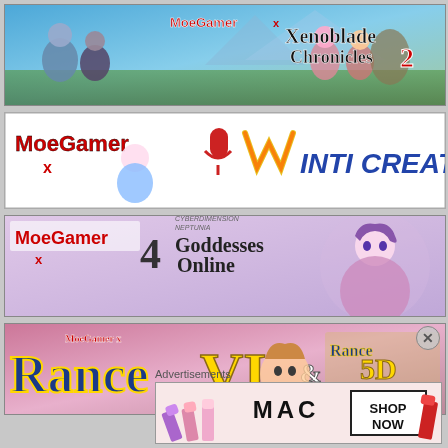[Figure (illustration): MoeGamer x Xenoblade Chronicles 2 banner with game characters on sky background]
[Figure (illustration): MoeGamer x Inti Creates banner with anime character and colorful logo on white background]
[Figure (illustration): MoeGamer x 4 Goddesses Online banner with anime character and game logo]
[Figure (illustration): MoeGamer x Rance VI & Rance 5D: The Lonely Girl banner with game logos]
Advertisements
[Figure (illustration): MAC cosmetics advertisement with lipsticks and SHOP NOW button]